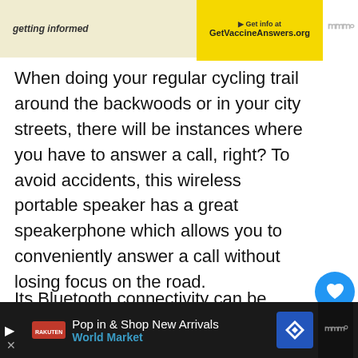[Figure (other): Top advertisement banner with yellow section showing GetVaccineAnswers.org URL and MW logo]
When doing your regular cycling trail around the backwoods or in your city streets, there will be instances where you have to answer a call, right? To avoid accidents, this wireless portable speaker has a great speakerphone which allows you to conveniently answer a call without losing focus on the road.
Its Bluetooth connectivity can be efficiently sustained for a range of 100 feet without losing much quality and timing in your songs. Wireless connectivity can be
[Figure (other): Bottom advertisement bar showing Pop in & Shop New Arrivals - World Market with play button, logo, navigation icon, MW logo and X close button]